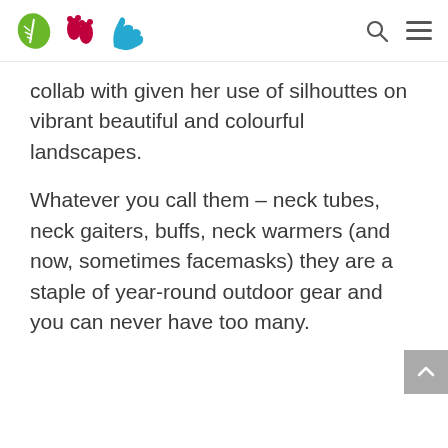Logo navigation header with leaf, footprint, and hand icons
collab with given her use of silhouttes on vibrant beautiful and colourful landscapes.
Whatever you call them – neck tubes, neck gaiters, buffs, neck warmers (and now, sometimes facemasks) they are a staple of year-round outdoor gear and you can never have too many.